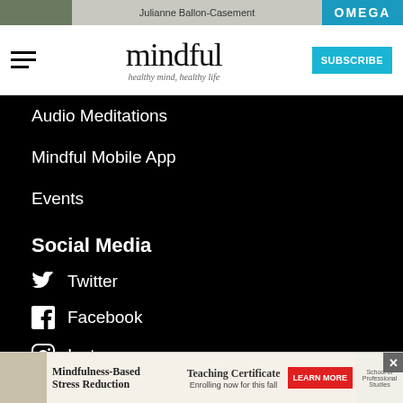[Figure (screenshot): Top advertisement banner with photo, text 'Julianne Ballon-Casement', and OMEGA brand logo on teal background]
mindful — healthy mind, healthy life — SUBSCRIBE
Audio Meditations
Mindful Mobile App
Events
Social Media
Twitter
Facebook
Instagram
TikTok
[Figure (screenshot): Bottom advertisement for Mindfulness-Based Stress Reduction Teaching Certificate — Enrolling now for this fall — with LEARN MORE button and School of Professional Studies logo]